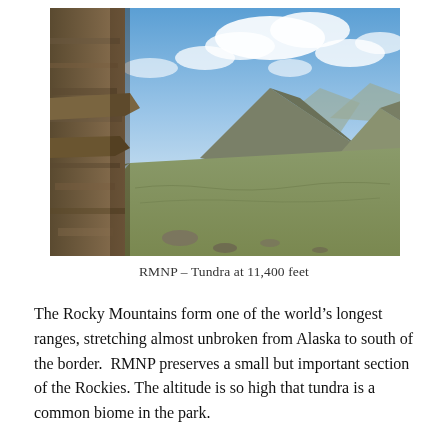[Figure (photo): Mountain landscape at high altitude — Rocky Mountain National Park tundra at 11,400 feet. Rocky stone wall on the left foreground, sweeping alpine tundra in the middle, large mountain peaks in the background under a blue sky with clouds.]
RMNP – Tundra at 11,400 feet
The Rocky Mountains form one of the world's longest ranges, stretching almost unbroken from Alaska to south of the border.  RMNP preserves a small but important section of the Rockies. The altitude is so high that tundra is a common biome in the park.